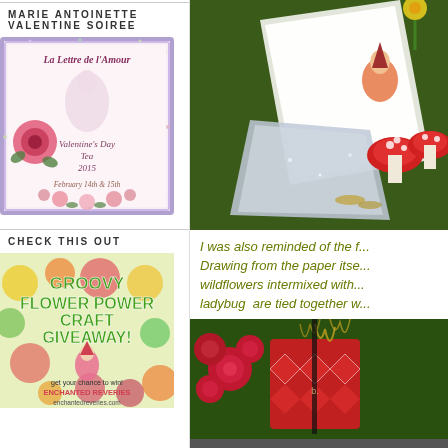MARIE ANTOINETTE VALENTINE SOIREE
[Figure (illustration): Valentine soiree decorative poster with roses, a woman in period dress, text reading 'La Lettre de l'Amour - Valentine's Day Tea 2015 - February 14th & 15th', ornate glitter border]
CHECK THIS OUT
[Figure (illustration): Colorful advertisement for 'Groovy Flower Power Craft Giveaway!' with bright flowers and text 'get your chance to win! ENCHANTED REVERIES - enchantedreveries.com']
[Figure (photo): Close-up photo of red and white spotted mushroom decorations with glitter, a gnome figure, yellow flowers, and a Valentine's card or paper]
I was also reminded of the f... Drawing from the paper itse... wildflowers intermixed with... ladybug  are tied together w...
[Figure (photo): Close-up photo of red and white geometric patterned gift box with red flowers and metallic gold tinsel decoration]